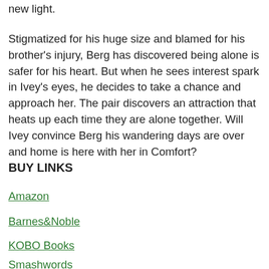new light.
Stigmatized for his huge size and blamed for his brother’s injury, Berg has discovered being alone is safer for his heart. But when he sees interest spark in Ivey’s eyes, he decides to take a chance and approach her. The pair discovers an attraction that heats up each time they are alone together. Will Ivey convince Berg his wandering days are over and home is here with her in Comfort?
BUY LINKS
Amazon
Barnes&Noble
KOBO Books
Smashwords